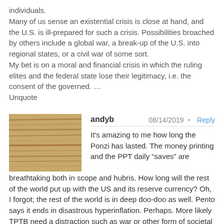individuals.
Many of us sense an existential crisis is close at hand, and the U.S. is ill-prepared for such a crisis. Possibilities broached by others include a global war, a break-up of the U.S. into regional states, or a civil war of some sort.
My bet is on a moral and financial crisis in which the ruling elites and the federal state lose their legitimacy, i.e. the consent of the governed. …
Unquote
andyb — 08/14/2019 — Reply
It's amazing to me how long the Ponzi has lasted. The money printing and the PPT daily “saves” are breathtaking both in scope and hubris. How long will the rest of the world put up with the US and its reserve currency? Oh, I forgot; the rest of the world is in deep doo-doo as well. Pento says it ends in disastrous hyperinflation. Perhaps. More likely TPTB need a distraction such as war or other form of societal upheaval.